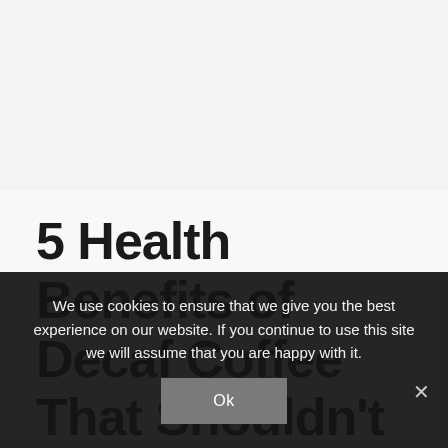[Figure (other): Top area with light gray background, likely a website header/hero image placeholder]
5 Health Benefits of Decaf Coffee That Shouldn't Be Ignored
We use cookies to ensure that we give you the best experience on our website. If you continue to use this site we will assume that you are happy with it.
Ok